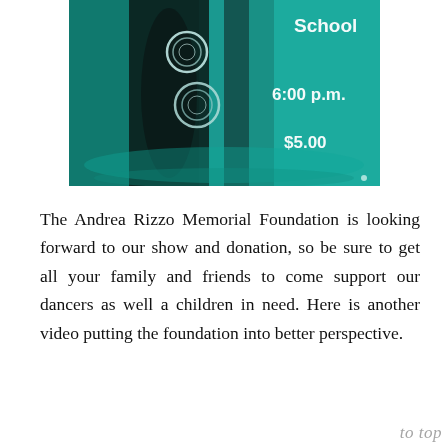[Figure (photo): Teal-tinted photo of dancers/performers with text overlays showing 'School', '6:00 p.m.', and '$5.00' in white on the right side. Dark silhouetted figures against teal/aqua background.]
The Andrea Rizzo Memorial Foundation is looking forward to our show and donation, so be sure to get all your family and friends to come support our dancers as well a children in need. Here is another video putting the foundation into better perspective.